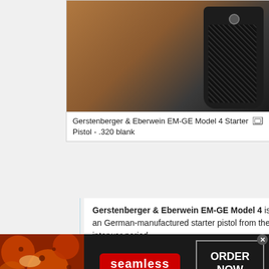[Figure (photo): Close-up photograph of a Gerstenberger & Eberwein EM-GE Model 4 Starter Pistol showing the grip and upper portion of the pistol on a wooden surface]
Gerstenberger & Eberwein EM-GE Model 4 Starter Pistol - .320 blank
Gerstenberger & Eberwein EM-GE Model 4 is an German-manufactured starter pistol from the interwar period.
Film
| Title | Actor | Character | Note | Date |
| --- | --- | --- | --- | --- |
| Number Seventeen | Donald Calthrop | Brant |  | 1932 |
| Number Seventeen | Anne |  |  | 1932 |
[Figure (screenshot): Seamless food delivery advertisement banner with pizza image, Seamless logo in red, and ORDER NOW button]